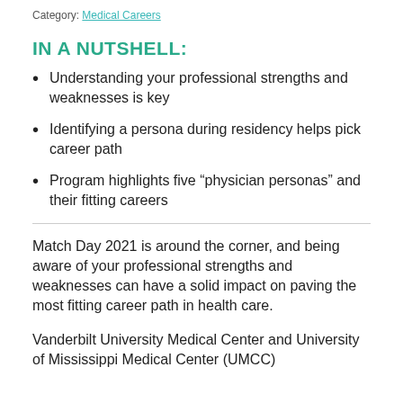Category: Medical Careers
IN A NUTSHELL:
Understanding your professional strengths and weaknesses is key
Identifying a persona during residency helps pick career path
Program highlights five “physician personas” and their fitting careers
Match Day 2021 is around the corner, and being aware of your professional strengths and weaknesses can have a solid impact on paving the most fitting career path in health care.
Vanderbilt University Medical Center and University of Mississippi Medical Center (UMCC)